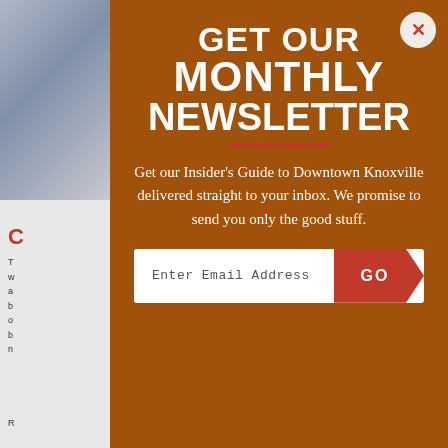GET OUR MONTHLY NEWSLETTER
Get our Insider's Guide to Downtown Knoxville delivered straight to your inbox. We promise to send you only the good stuff.
Enter Email Address  GO